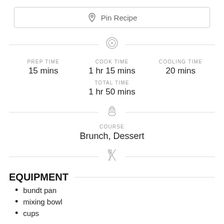Pin Recipe
PREP TIME: 15 mins | COOK TIME: 1 hr 15 mins | COOLING TIME: 20 mins
TOTAL TIME: 1 hr 50 mins
COURSE: Brunch, Dessert
EQUIPMENT
bundt pan
mixing bowl
cups